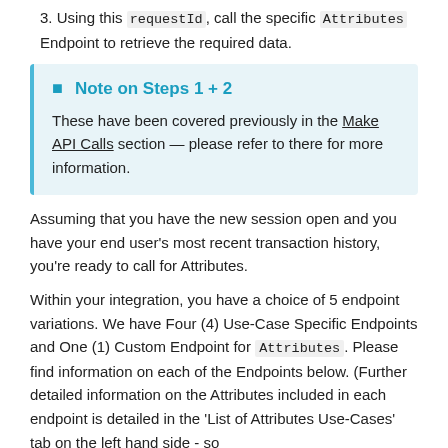3. Using this `requestId`, call the specific `Attributes` Endpoint to retrieve the required data.
Note on Steps 1 + 2
These have been covered previously in the Make API Calls section — please refer to there for more information.
Assuming that you have the new session open and you have your end user's most recent transaction history, you're ready to call for Attributes.
Within your integration, you have a choice of 5 endpoint variations. We have Four (4) Use-Case Specific Endpoints and One (1) Custom Endpoint for Attributes. Please find information on each of the Endpoints below. (Further detailed information on the Attributes included in each endpoint is detailed in the 'List of Attributes Use-Cases' tab on the left hand side - so